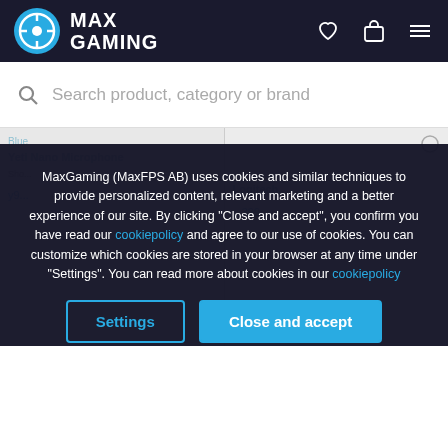MAX GAMING
Search product, category or brand
MaxGaming (MaxFPS AB) uses cookies and similar techniques to provide personalized content, relevant marketing and a better experience of our site. By clicking "Close and accept", you confirm you have read our cookiepolicy and agree to our use of cookies. You can customize which cookies are stored in your browser at any time under "Settings". You can read more about cookies in our cookiepolicy
Settings
Close and accept